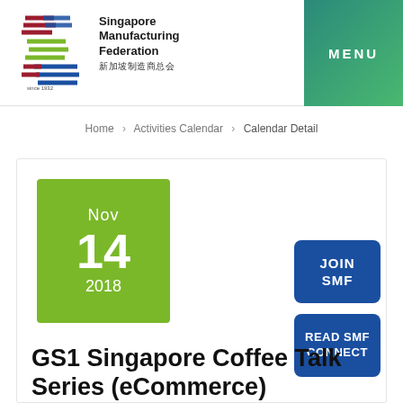[Figure (logo): Singapore Manufacturing Federation logo with stylized S shape in red, blue, and green stripes, with text 'Singapore Manufacturing Federation' and Chinese characters '新加坡制造商总会']
MENU
Home › Activities Calendar › Calendar Detail
Nov
14
2018
JOIN SMF
READ SMF CONNECT
GS1 Singapore Coffee Talk Series (eCommerce)